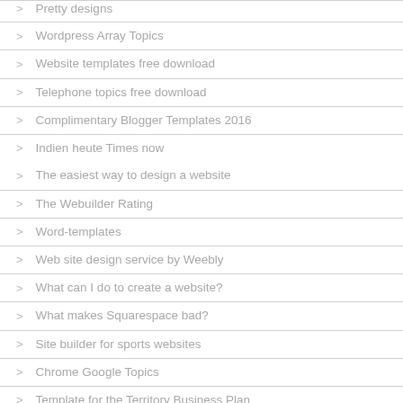Pretty designs
Wordpress Array Topics
Website templates free download
Telephone topics free download
Complimentary Blogger Templates 2016
Indien heute Times now
The easiest way to design a website
The Webuilder Rating
Word-templates
Web site design service by Weebly
What can I do to create a website?
What makes Squarespace bad?
Site builder for sports websites
Chrome Google Topics
Template for the Territory Business Plan
The Logo